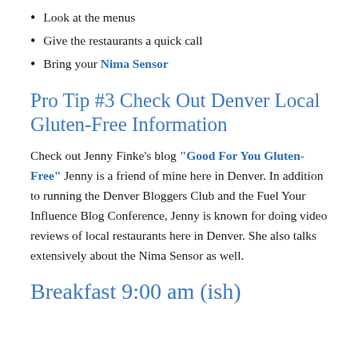Look at the menus
Give the restaurants a quick call
Bring your Nima Sensor
Pro Tip #3 Check Out Denver Local Gluten-Free Information
Check out Jenny Finke’s blog “Good For You Gluten-Free” Jenny is a friend of mine here in Denver. In addition to running the Denver Bloggers Club and the Fuel Your Influence Blog Conference, Jenny is known for doing video reviews of local restaurants here in Denver. She also talks extensively about the Nima Sensor as well.
Breakfast 9:00 am (ish)